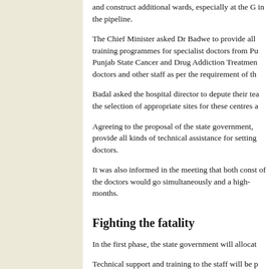and construct additional wards, especially at the G in the pipeline.
The Chief Minister asked Dr Badwe to provide all training programmes for specialist doctors from Pu Punjab State Cancer and Drug Addiction Treatmen doctors and other staff as per the requirement of th
Badal asked the hospital director to depute their tea the selection of appropriate sites for these centres a
Agreeing to the proposal of the state government, provide all kinds of technical assistance for setting doctors.
It was also informed in the meeting that both const of the doctors would go simultaneously and a high- months.
Fighting the fatality
In the first phase, the state government will allocat
Technical support and training to the staff will be p Research Centre
The construction of these centres and the recruitme